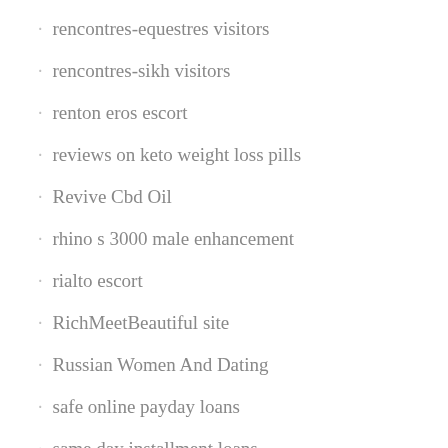rencontres-equestres visitors
rencontres-sikh visitors
renton eros escort
reviews on keto weight loss pills
Revive Cbd Oil
rhino s 3000 male enhancement
rialto escort
RichMeetBeautiful site
Russian Women And Dating
safe online payday loans
same day installment loans